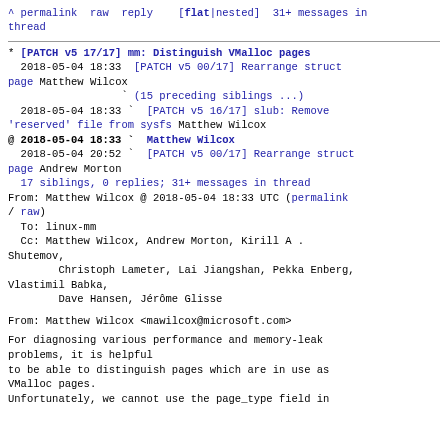^ permalink raw reply [flat|nested] 31+ messages in thread
* [PATCH v5 17/17] mm: Distinguish VMalloc pages
  2018-05-04 18:33 [PATCH v5 00/17] Rearrange struct page Matthew Wilcox
  ` (15 preceding siblings ...)
  2018-05-04 18:33 ` [PATCH v5 16/17] slub: Remove 'reserved' file from sysfs Matthew Wilcox
@ 2018-05-04 18:33 ` Matthew Wilcox
  2018-05-04 20:52 ` [PATCH v5 00/17] Rearrange struct page Andrew Morton
  17 siblings, 0 replies; 31+ messages in thread
From: Matthew Wilcox @ 2018-05-04 18:33 UTC (permalink / raw)
  To: linux-mm
  Cc: Matthew Wilcox, Andrew Morton, Kirill A . Shutemov,
          Christoph Lameter, Lai Jiangshan, Pekka Enberg, Vlastimil Babka,
          Dave Hansen, Jérôme Glisse

From: Matthew Wilcox <mawilcox@microsoft.com>

For diagnosing various performance and memory-leak problems, it is helpful
to be able to distinguish pages which are in use as VMalloc pages.
Unfortunately, we cannot use the page_type field in